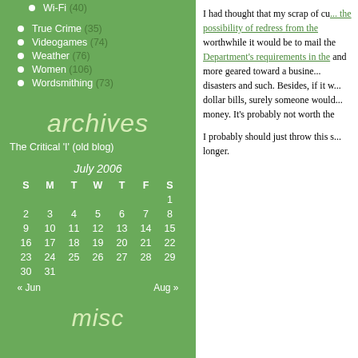Wi-Fi (40)
True Crime (35)
Videogames (74)
Weather (76)
Women (106)
Wordsmithing (73)
archives
The Critical 'I' (old blog)
| S | M | T | W | T | F | S |
| --- | --- | --- | --- | --- | --- | --- |
|  |  |  |  |  |  | 1 |
| 2 | 3 | 4 | 5 | 6 | 7 | 8 |
| 9 | 10 | 11 | 12 | 13 | 14 | 15 |
| 16 | 17 | 18 | 19 | 20 | 21 | 22 |
| 23 | 24 | 25 | 26 | 27 | 28 | 29 |
| 30 | 31 |  |  |  |  |  |
« Jun    Aug »
misc
I had thought that my scrap of cu... the possibility of redress from the worthwhile it would be to mail the Department's requirements in the and more geared toward a business disasters and such. Besides, if it would dollar bills, surely someone would money. It's probably not worth the
I probably should just throw this s longer.